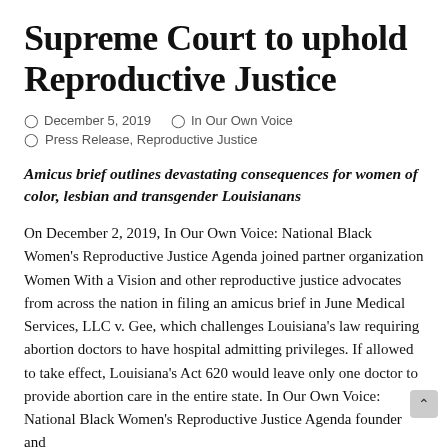Supreme Court to uphold Reproductive Justice
December 5, 2019   In Our Own Voice   Press Release, Reproductive Justice
Amicus brief outlines devastating consequences for women of color, lesbian and transgender Louisianans
On December 2, 2019, In Our Own Voice: National Black Women's Reproductive Justice Agenda joined partner organization Women With a Vision and other reproductive justice advocates from across the nation in filing an amicus brief in June Medical Services, LLC v. Gee, which challenges Louisiana's law requiring abortion doctors to have hospital admitting privileges. If allowed to take effect, Louisiana's Act 620 would leave only one doctor to provide abortion care in the entire state. In Our Own Voice: National Black Women's Reproductive Justice Agenda founder and